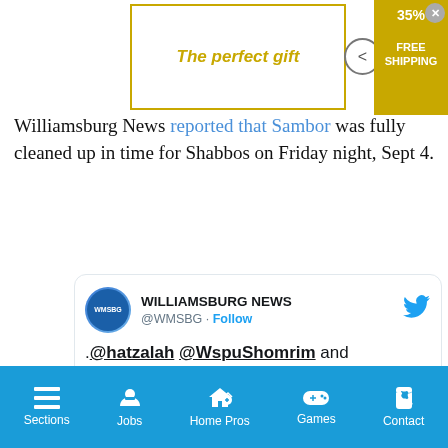[Figure (screenshot): Advertisement banner with 'The perfect gift' text in italic gold, navigation arrows, and a gold badge showing 35% FREE SHIPPING with X close button]
Williamsburg News reported that Sambor was fully cleaned up in time for Shabbos on Friday night, Sept 4.
[Figure (screenshot): Embedded Twitter/X post by WILLIAMSBURG NEWS @WMSBG with Follow button and Twitter bird logo. Tweet text: .@hatzalah @WspuShomrim and @bklynchaveirim are rescuing 4 Seiferei Torahs that were flooded in Sambor Shul on Walton St. With a media thumbnail showing Watch on Twitter button.]
Sections  Jobs  Home Pros  Games  Contact